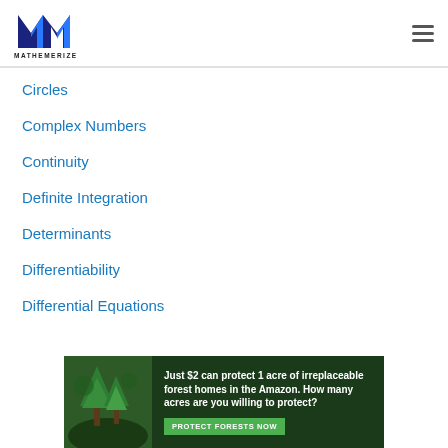MATHEMERIZE
Circles
Complex Numbers
Continuity
Definite Integration
Determinants
Differentiability
Differential Equations
[Figure (infographic): Advertisement banner: 'Just $2 can protect 1 acre of irreplaceable forest homes in the Amazon. How many acres are you willing to protect?' with a green 'PROTECT FORESTS NOW' button and a forest background image.]